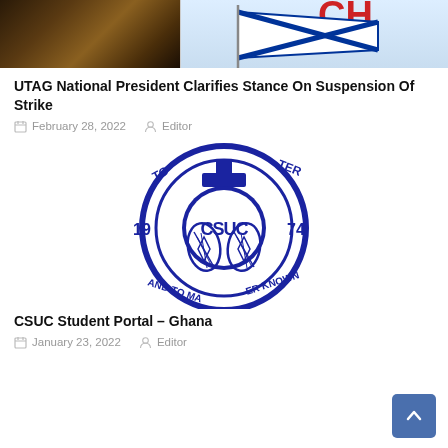[Figure (photo): Two thumbnail images side by side at top: left shows a dark wooden/barrel surface, right shows a blue and white flag/pennant on light blue background with red text partially visible]
UTAG National President Clarifies Stance On Suspension Of Strike
February 28, 2022  Editor
[Figure (logo): CSUC circular logo in dark blue. Features a cross at top, an owl emblem in the center with 'CSUC' text, the years '19' and '74' on the sides, and text around the ring reading 'TO KNOW' (top), 'TER' (top right), 'AND TO MAKE' (bottom left), 'ER KNOWN' (bottom right), dated 1974]
CSUC Student Portal – Ghana
January 23, 2022  Editor